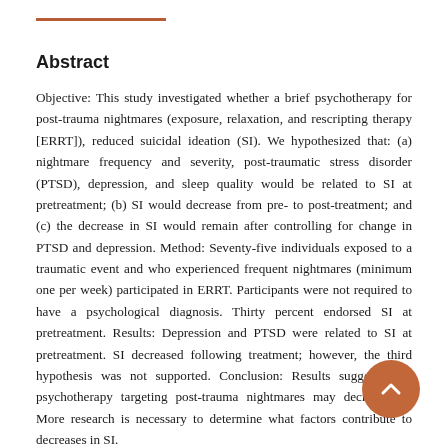Abstract
Objective: This study investigated whether a brief psychotherapy for post-trauma nightmares (exposure, relaxation, and rescripting therapy [ERRT]), reduced suicidal ideation (SI). We hypothesized that: (a) nightmare frequency and severity, post-traumatic stress disorder (PTSD), depression, and sleep quality would be related to SI at pretreatment; (b) SI would decrease from pre- to post-treatment; and (c) the decrease in SI would remain after controlling for change in PTSD and depression. Method: Seventy-five individuals exposed to a traumatic event and who experienced frequent nightmares (minimum one per week) participated in ERRT. Participants were not required to have a psychological diagnosis. Thirty percent endorsed SI at pretreatment. Results: Depression and PTSD were related to SI at pretreatment. SI decreased following treatment; however, the third hypothesis was not supported. Conclusion: Results suggest brief psychotherapy targeting post-trauma nightmares may decrease SI. More research is necessary to determine what factors contribute to decreases in SI.